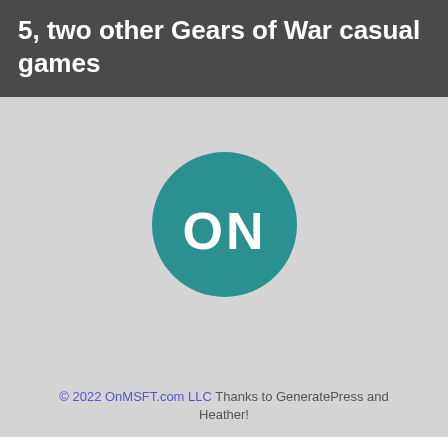5, two other Gears of War casual games
[Figure (logo): OnMSFT.com logo: teal circle with white 'ON' text]
© 2022 OnMSFT.com LLC Thanks to GeneratePress and Heather!